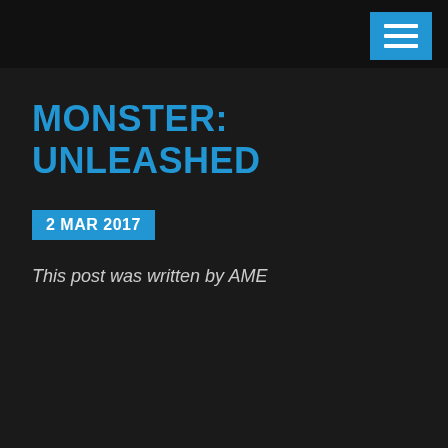MONSTER: UNLEASHED
2 MAR 2017
This post was written by AME